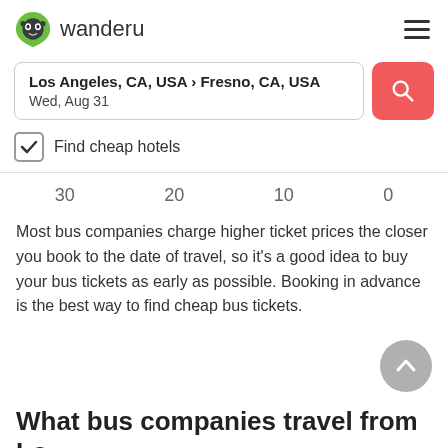wanderu
Los Angeles, CA, USA › Fresno, CA, USA
Wed, Aug 31
Find cheap hotels
30  20  10  0
Most bus companies charge higher ticket prices the closer you book to the date of travel, so it's a good idea to buy your bus tickets as early as possible. Booking in advance is the best way to find cheap bus tickets.
What bus companies travel from Lo...